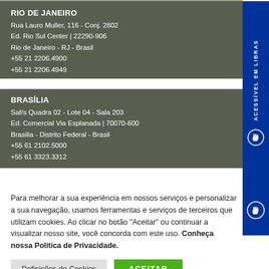RIO DE JANEIRO
Rua Lauro Muller, 116 - Conj. 2802
Ed. Rio Sul Center | 22290-906
Rio de Janeiro - RJ - Brasil
+55 21 2206.4900
+55 21 2206.4949
BRASÍLIA
Saf/s Quadra 02 - Lote 04 - Sala 203
Ed. Comercial Via Esplanada | 70070-600
Brasilia - Distrito Federal - Brasil
+55 61 2102.5000
+55 61 3323.3312
Para melhorar a sua experiência em nossos serviços e personalizar a sua navegação, usamos ferramentas e serviços de terceiros que utilizam cookies. Ao clicar no botão "Aceitar" ou continuar a visualizar nosso site, você concorda com este uso. Conheça nossa Política de Privacidade.
Definições de Cookies
ACEITAR